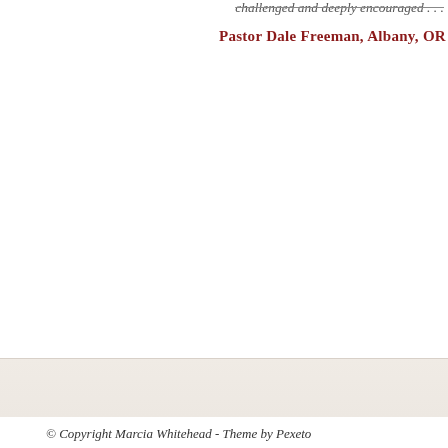challenged and deeply encouraged . . .
Pastor Dale Freeman, Albany, OR
© Copyright Marcia Whitehead - Theme by Pexeto